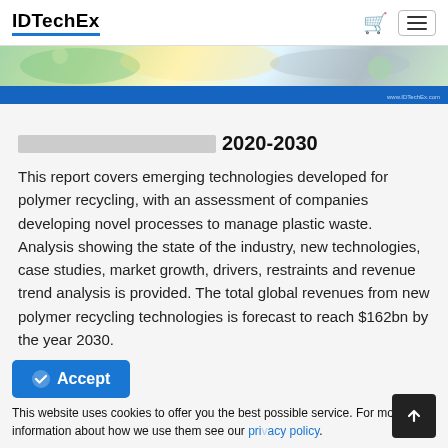IDTechEx
[Figure (photo): Banner image showing plastic/polymer recycling materials with green and blue tones, IDTechEx branding bar at bottom]
[redacted title] 2020-2030
This report covers emerging technologies developed for polymer recycling, with an assessment of companies developing novel processes to manage plastic waste. Analysis showing the state of the industry, new technologies, case studies, market growth, drivers, restraints and revenue trend analysis is provided. The total global revenues from new polymer recycling technologies is forecast to reach $162bn by the year 2030.
Accept
This website uses cookies to offer you the best possible service. For more information about how we use them see our privacy policy.